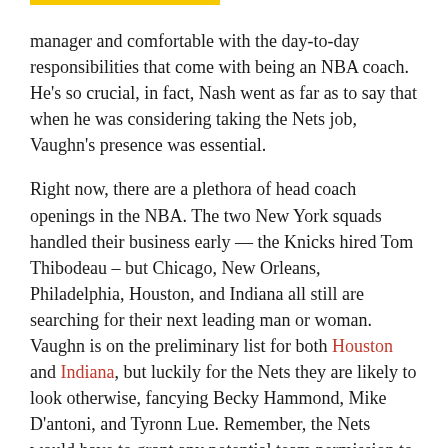manager and comfortable with the day-to-day responsibilities that come with being an NBA coach. He's so crucial, in fact, Nash went as far as to say that when he was considering taking the Nets job, Vaughn's presence was essential.
Right now, there are a plethora of head coach openings in the NBA. The two New York squads handled their business early — the Knicks hired Tom Thibodeau – but Chicago, New Orleans, Philadelphia, Houston, and Indiana all still are searching for their next leading man or woman. Vaughn is on the preliminary list for both Houston and Indiana, but luckily for the Nets they are likely to look otherwise, fancying Becky Hammond, Mike D'antoni, and Tyronn Lue. Remember, the Nets would have to grant any potential team permission to interview Vaughn, although it is considered customary for a promotion.